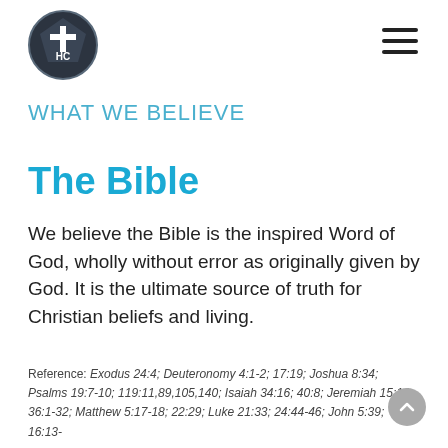[Figure (logo): Circular church logo with a cross and pentagon shape, letters HC inside, on dark background]
WHAT WE BELIEVE
The Bible
We believe the Bible is the inspired Word of God, wholly without error as originally given by God. It is the ultimate source of truth for Christian beliefs and living.
Reference: Exodus 24:4; Deuteronomy 4:1-2; 17:19; Joshua 8:34; Psalms 19:7-10; 119:11,89,105,140; Isaiah 34:16; 40:8; Jeremiah 15:16; 36:1-32; Matthew 5:17-18; 22:29; Luke 21:33; 24:44-46; John 5:39; 16:13-